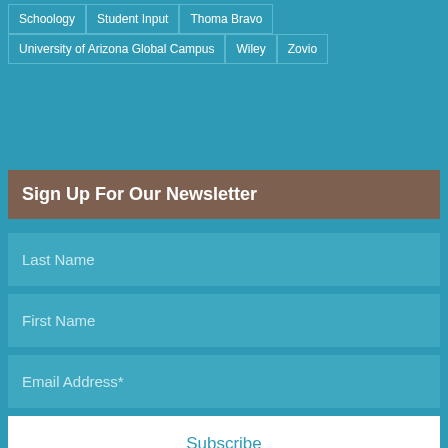Schoology
Student Input
Thoma Bravo
University of Arizona Global Campus
Wiley
Zovio
Sign Up For Our Newsletter
Last Name
First Name
Email Address*
Subscribe